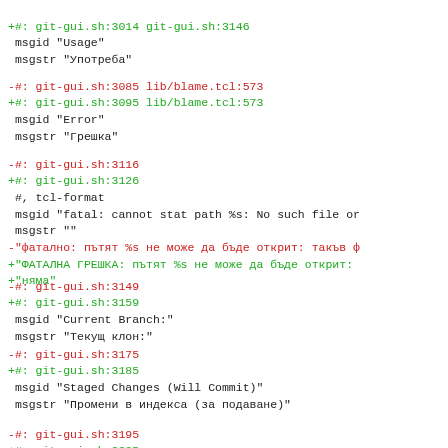+#: git-gui.sh:3014 git-gui.sh:3146
 msgid "Usage"
 msgstr "Употреба"
-#: git-gui.sh:3085 lib/blame.tcl:573
+#: git-gui.sh:3095 lib/blame.tcl:573
 msgid "Error"
 msgstr "Грешка"
-#: git-gui.sh:3116
+#: git-gui.sh:3126
 #, tcl-format
 msgid "fatal: cannot stat path %s: No such file or
 msgstr ""
-"фатално: пътят %s не може да бъде открит: такъв ф
+"ФАТАЛНА ГРЕШКА: пътят %s не може да бъде открит:
+"няма"
-#: git-gui.sh:3149
+#: git-gui.sh:3159
 msgid "Current Branch:"
 msgstr "Текущ клон:"
-#: git-gui.sh:3175
+#: git-gui.sh:3185
 msgid "Staged Changes (Will Commit)"
 msgstr "Промени в индекса (за подаване)"
-#: git-gui.sh:3195
+#: git-gui.sh:3205